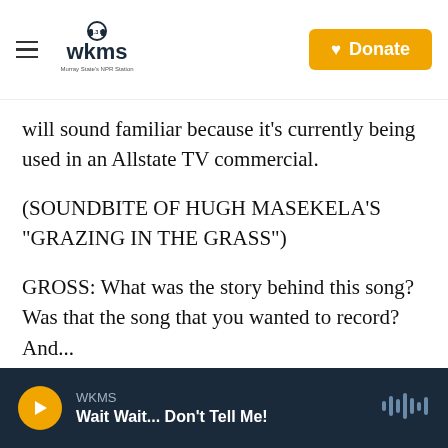WKMS 91.3 fm Murray State's NPR Station | Donate
will sound familiar because it's currently being used in an Allstate TV commercial.
(SOUNDBITE OF HUGH MASEKELA'S "GRAZING IN THE GRASS")
GROSS: What was the story behind this song? Was that the song that you wanted to record? And...
H MASEKELA: I think the majority of the people who bought that record or danced to it are grandparents now.
WKMS — Wait Wait... Don't Tell Me!